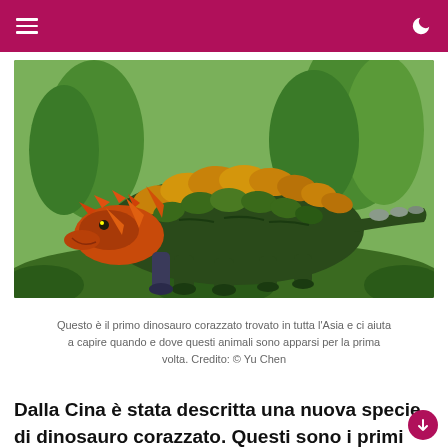[Figure (illustration): Digital 3D illustration of an ankylosaur-type armored dinosaur with orange and green spiky armor plating, standing in a prehistoric jungle environment with palm-like trees and ferns. Credited to Yu Chen.]
Questo è il primo dinosauro corazzato trovato in tutta l'Asia e ci aiuta a capire quando e dove questi animali sono apparsi per la prima volta. Credito: © Yu Chen
Dalla Cina è stata descritta una nuova specie di dinosauro corazzato. Questi sono i primi resti fossili di questo gruppo trovati in Asia, aiutando a capire